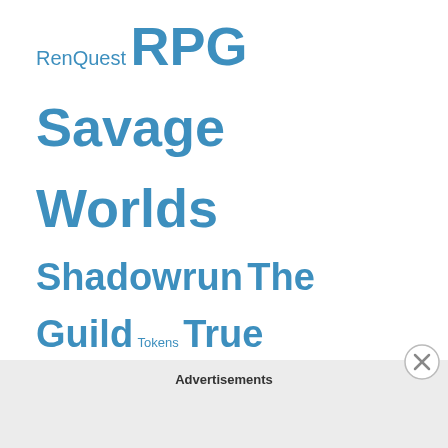RenQuest RPG Savage Worlds Shadowrun The Guild Tokens True Dungeon Useful Websites Video Games Waterdeep: Dragon Heist When Zombies Attack Wizards of the Coast World of Darkness
[Figure (logo): RPG Blog Alliance logo with colored fantasy character silhouettes (green, brown, purple) and text 'RPG Blog Alliance']
Dungeon Masters Guild Hottest Titles
Spelljammer Combat Expanded
Advertisements